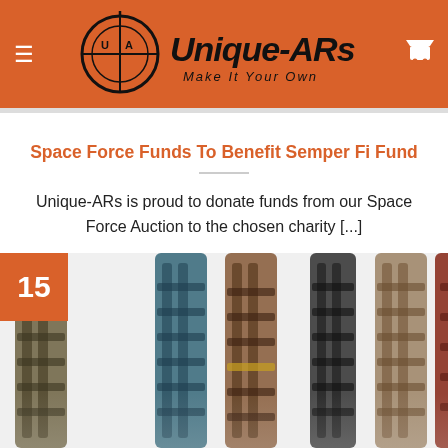Unique-ARs — Make It Your Own
Space Force Funds To Benefit Semper Fi Fund
Unique-ARs is proud to donate funds from our Space Force Auction to the chosen charity [...]
[Figure (photo): Row of multiple AR-style rifle handguards in various colors/patterns with an orange date badge showing '15' in the lower left corner]